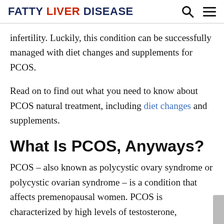Fatty Liver Disease
infertility. Luckily, this condition can be successfully managed with diet changes and supplements for PCOS.
Read on to find out what you need to know about PCOS natural treatment, including diet changes and supplements.
What Is PCOS, Anyways?
PCOS – also known as polycystic ovary syndrome or polycystic ovarian syndrome – is a condition that affects premenopausal women. PCOS is characterized by high levels of testosterone,